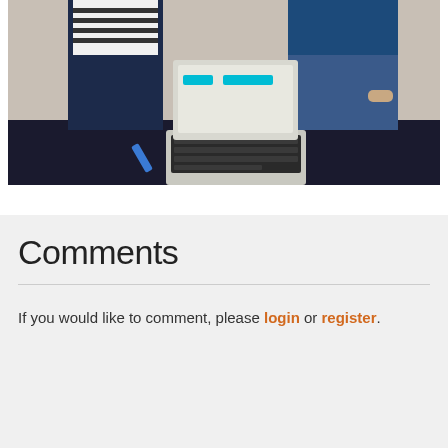[Figure (photo): Two people standing behind a table with a laptop open on it. One person wears a striped top, the other wears a blue top. The table has a dark surface.]
Comments
If you would like to comment, please login or register.